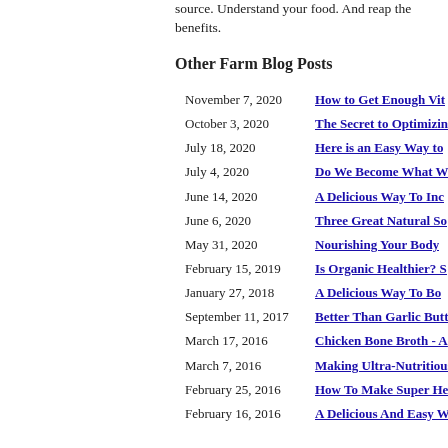source. Understand your food. And reap the benefits.
Other Farm Blog Posts
November 7, 2020 — How to Get Enough Vit…
October 3, 2020 — The Secret to Optimizin…
July 18, 2020 — Here is an Easy Way to…
July 4, 2020 — Do We Become What W…
June 14, 2020 — A Delicious Way To Inc…
June 6, 2020 — Three Great Natural So…
May 31, 2020 — Nourishing Your Body …
February 15, 2019 — Is Organic Healthier? S…
January 27, 2018 — A Delicious Way To Bo…
September 11, 2017 — Better Than Garlic Butt…
March 17, 2016 — Chicken Bone Broth - A…
March 7, 2016 — Making Ultra-Nutritious…
February 25, 2016 — How To Make Super He…
February 16, 2016 — A Delicious And Easy W…